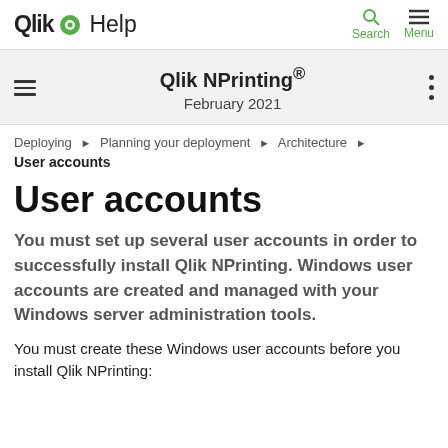Qlik Help — Search | Menu
Qlik NPrinting® February 2021
Deploying ▶ Planning your deployment ▶ Architecture ▶ User accounts
User accounts
You must set up several user accounts in order to successfully install Qlik NPrinting. Windows user accounts are created and managed with your Windows server administration tools.
You must create these Windows user accounts before you install Qlik NPrinting: